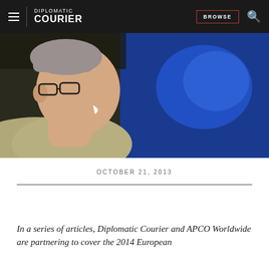DIPLOMATIC COURIER | BROWSE
[Figure (photo): Close-up side profile of a man with glasses smiling, wearing a light-colored jacket, against a blue background]
OCTOBER 21, 2013
In a series of articles, Diplomatic Courier and APCO Worldwide are partnering to cover the 2014 European